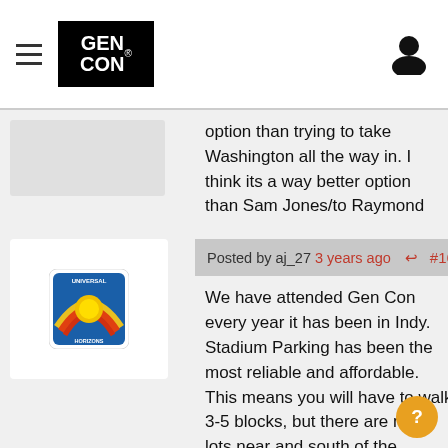[Figure (logo): Gen Con logo - white text on black background with registered trademark symbol]
option than trying to take Washington all the way in. I think its a way better option than Sam Jones/to Raymond
Posted by aj_27 3 years ago #16
[Figure (logo): Universal Horizons avatar - colorful rainbow logo]
We have attended Gen Con every year it has been in Indy. Stadium Parking has been the most reliable and affordable. This means you will have to walk 3-5 blocks, but there are many lots near and south of the Stadium.

Also, a little known parking trick... On Sunday, the Government lot opens up for $15 (this might change) a day parking and that ramp is attached to the JW and